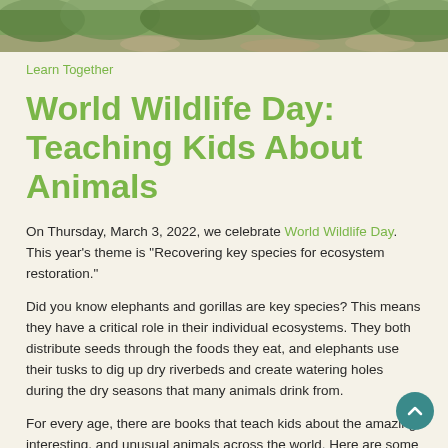[Figure (photo): A nature/wildlife photograph showing green foliage and rocky terrain, used as a hero image at the top of the page.]
Learn Together
World Wildlife Day: Teaching Kids About Animals
On Thursday, March 3, 2022, we celebrate World Wildlife Day. This year’s theme is “Recovering key species for ecosystem restoration.”
Did you know elephants and gorillas are key species? This means they have a critical role in their individual ecosystems. They both distribute seeds through the foods they eat, and elephants use their tusks to dig up dry riverbeds and create watering holes during the dry seasons that many animals drink from.
For every age, there are books that teach kids about the amazing, interesting, and unusual animals across the world. Here are some ways to teach kids about animals with lyrical nonfiction.
Fun Facts About Animals